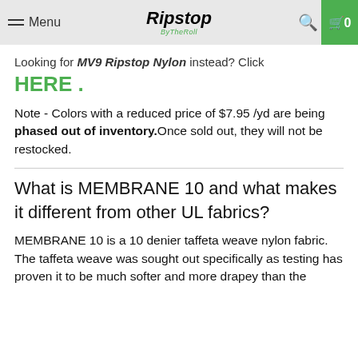Menu | Ripstop By the Roll | Search | Cart 0
Looking for MV9 Ripstop Nylon instead? Click HERE .
Note - Colors with a reduced price of $7.95 /yd are being phased out of inventory.Once sold out, they will not be restocked.
What is MEMBRANE 10 and what makes it different from other UL fabrics?
MEMBRANE 10 is a 10 denier taffeta weave nylon fabric. The taffeta weave was sought out specifically as testing has proven it to be much softer and more drapey than the other...